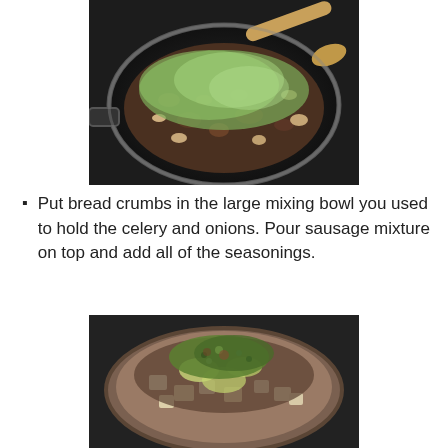[Figure (photo): A skillet/frying pan on a stove top containing ground meat cooked with chopped celery, onions, and mushrooms, being stirred with a wooden spoon. The pan has a black non-stick surface.]
Put bread crumbs in the large mixing bowl you used to hold the celery and onions. Pour sausage mixture on top and add all of the seasonings.
[Figure (photo): A large mixing bowl containing bread cubes, sausage mixture, chopped celery, onions, and herbs/seasonings sprinkled on top, viewed from above.]